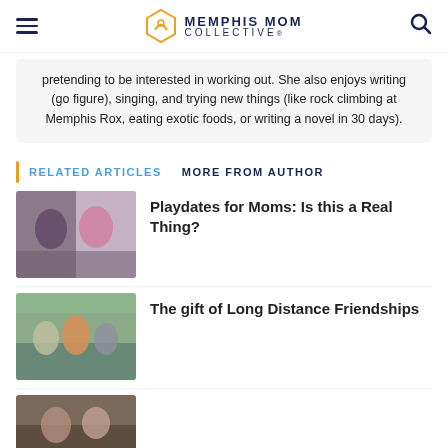MEMPHIS MOM COLLECTIVE
pretending to be interested in working out. She also enjoys writing (go figure), singing, and trying new things (like rock climbing at Memphis Rox, eating exotic foods, or writing a novel in 30 days).
RELATED ARTICLES   MORE FROM AUTHOR
[Figure (photo): Two women posing in front of a decorative black and white patterned backdrop]
Playdates for Moms: Is this a Real Thing?
[Figure (photo): Three women walking outdoors, one in orange shirt]
The gift of Long Distance Friendships
[Figure (photo): Partial thumbnail of another article at bottom]